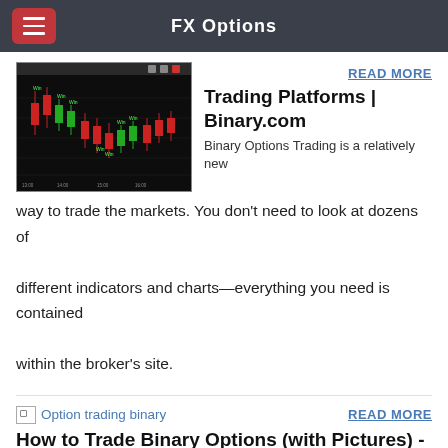FX Options
[Figure (screenshot): Candlestick trading chart screenshot from Binary.com platform showing red and green candlesticks on a dark background]
READ MORE
Trading Platforms | Binary.com
Binary Options Trading is a relatively new way to trade the markets. You don't need to look at dozens of different indicators and charts—everything you need is contained within the broker's site.
[Figure (illustration): Broken image placeholder labeled 'Option trading binary']
READ MORE
How to Trade Binary Options (with Pictures) - wikiHow
Binary options trading involve risk. Although the risk of executing a binary options open is fixed for each individual trade, it is possible to lose all of the initial investment in a course of several trades or in a single trade if the entire capital is used to place it.